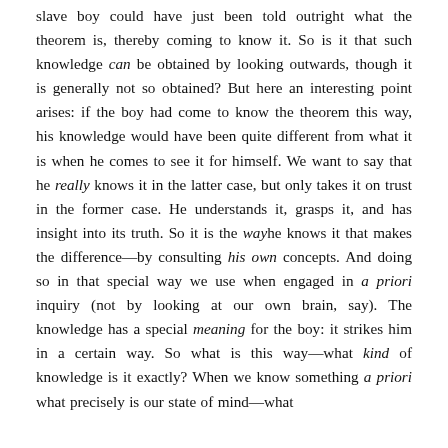slave boy could have just been told outright what the theorem is, thereby coming to know it. So is it that such knowledge can be obtained by looking outwards, though it is generally not so obtained? But here an interesting point arises: if the boy had come to know the theorem this way, his knowledge would have been quite different from what it is when he comes to see it for himself. We want to say that he really knows it in the latter case, but only takes it on trust in the former case. He understands it, grasps it, and has insight into its truth. So it is the wayhe knows it that makes the difference—by consulting his own concepts. And doing so in that special way we use when engaged in a priori inquiry (not by looking at our own brain, say). The knowledge has a special meaning for the boy: it strikes him in a certain way. So what is this way—what kind of knowledge is it exactly? When we know something a priori what precisely is our state of mind—what